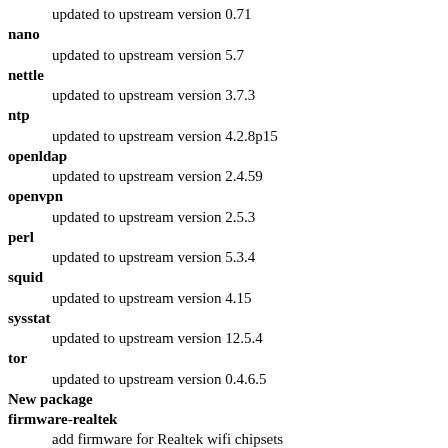updated to upstream version 0.71
nano
    updated to upstream version 5.7
nettle
    updated to upstream version 3.7.3
ntp
    updated to upstream version 4.2.8p15
openldap
    updated to upstream version 2.4.59
openvpn
    updated to upstream version 2.5.3
perl
    updated to upstream version 5.3.4
squid
    updated to upstream version 4.15
sysstat
    updated to upstream version 12.5.4
tor
    updated to upstream version 0.4.6.5
New package
firmware-realtek
    add firmware for Realtek wifi chipsets
Changes between 7.1.0-beta1 and 7.1.0-alpha1